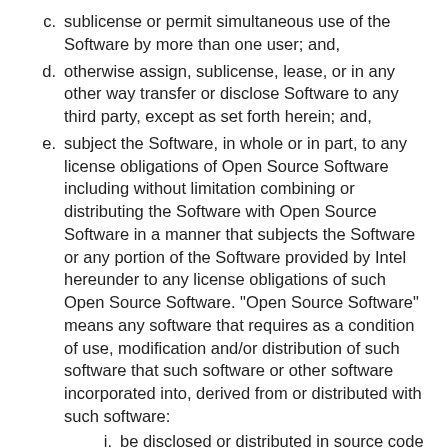c. sublicense or permit simultaneous use of the Software by more than one user; and,
d. otherwise assign, sublicense, lease, or in any other way transfer or disclose Software to any third party, except as set forth herein; and,
e. subject the Software, in whole or in part, to any license obligations of Open Source Software including without limitation combining or distributing the Software with Open Source Software in a manner that subjects the Software or any portion of the Software provided by Intel hereunder to any license obligations of such Open Source Software. "Open Source Software" means any software that requires as a condition of use, modification and/or distribution of such software that such software or other software incorporated into, derived from or distributed with such software:
i. be disclosed or distributed in source code form; or